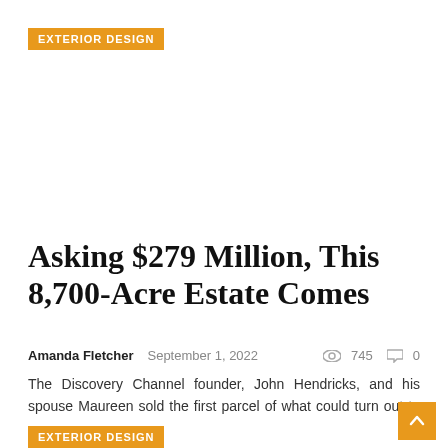EXTERIOR DESIGN
Asking $279 Million, This 8,700-Acre Estate Comes
Amanda Fletcher   September 1, 2022   745   0
The Discovery Channel founder, John Hendricks, and his spouse Maureen sold the first parcel of what could turn out to …
EXTERIOR DESIGN